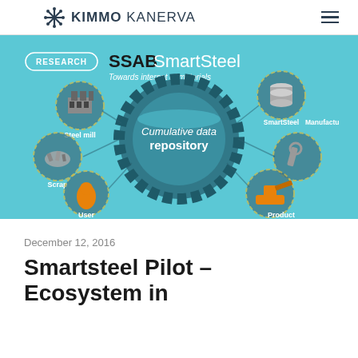KIMMO KANERVA
[Figure (infographic): SSAB SmartSteel infographic showing a cumulative data repository in the center (a teal cylindrical dial) surrounded by circular icons for: Steel mill, Scrap, User, SmartSteel, Manufactu(ring), and Product. Title reads 'RESEARCH SSAB SmartSteel – Towards internet of materials'. Background is light teal/blue.]
December 12, 2016
Smartsteel Pilot – Ecosystem in